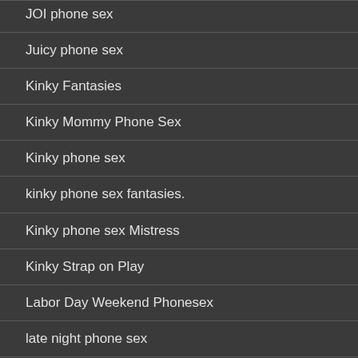JOI phone sex
Juicy phone sex
Kinky Fantasies
Kinky Mommy Phone Sex
Kinky phone sex
kinky phone sex fantasies.
Kinky phone sex Mistress
Kinky Strap on Play
Labor Day Weekend Phonesex
late night phone sex
lesbian phone sex
little dick Cuckhold